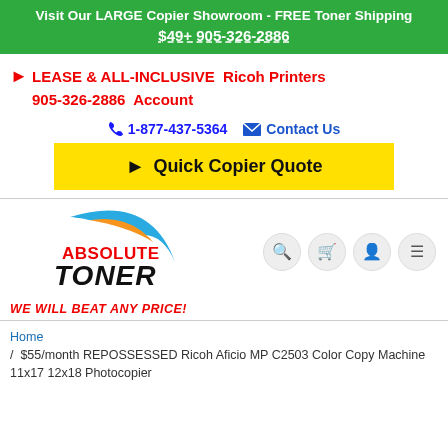Visit Our LARGE Copier Showroom - FREE Toner Shipping $49+ 905-326-2886
▶ LEASE & ALL-INCLUSIVE Ricoh Printers 905-326-2886 Account
☎ 1-877-437-5364 ✉ Contact Us
▶ Quick Copier Quote
[Figure (logo): Absolute Toner logo with colorful arc swoosh and text WE WILL BEAT ANY PRICE!]
Home / $55/month REPOSSESSED Ricoh Aficio MP C2503 Color Copy Machine 11x17 12x18 Photocopier